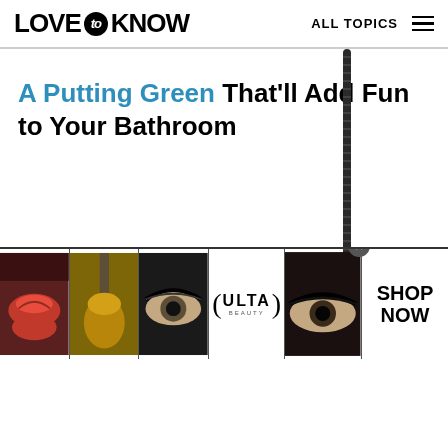LOVE to KNOW   ALL TOPICS
A Putting Green That'll Add Fun to Your Bathroom
[Figure (photo): A long thin black golf club handle/stick shown vertically against a white background]
[Figure (photo): Advertisement banner showing beauty product images: lips, makeup brush, eye with eyeliner, ULTA beauty logo, eye with smoky makeup, and SHOP NOW call to action button]